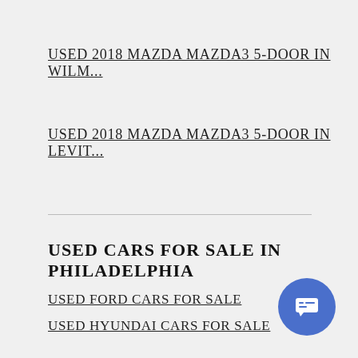USED 2018 MAZDA MAZDA3 5-DOOR IN WILM...
USED 2018 MAZDA MAZDA3 5-DOOR IN LEVIT...
USED CARS FOR SALE IN PHILADELPHIA
USED FORD CARS FOR SALE
USED HYUNDAI CARS FOR SALE
USED ACURA CARS FOR SALE
USED AUDI CARS FOR SALE
USED BMW CARS FOR SALE